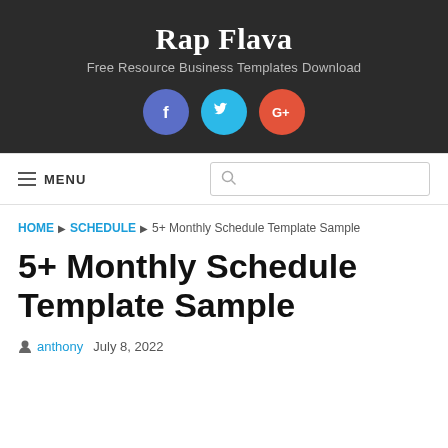Rap Flava
Free Resource Business Templates Download
[Figure (other): Three social media icons: Facebook (blue circle with f), Twitter (cyan circle with bird), Google+ (red circle with G+)]
MENU [search box]
HOME ▶ SCHEDULE ▶ 5+ Monthly Schedule Template Sample
5+ Monthly Schedule Template Sample
anthony  July 8, 2022